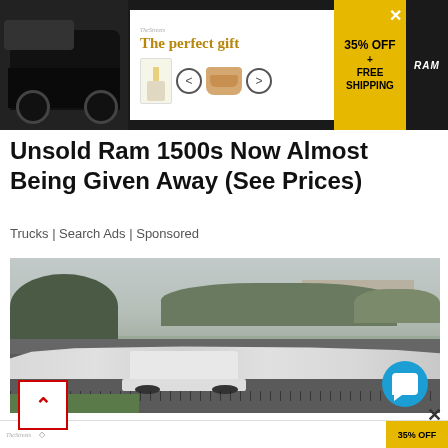[Figure (screenshot): Advertisement banner for 'The perfect gift' with product images, navigation arrows, 35% OFF + FREE SHIPPING badge, and RAM truck logo]
Unsold Ram 1500s Now Almost Being Given Away (See Prices)
Trucks | Search Ads | Sponsored
[Figure (photo): Large parking lot full of rows of white SUVs/crossover vehicles behind a chain-link fence, with trees and a building in the background under an overcast sky]
[Figure (screenshot): Bottom advertisement banner partial showing 35% OFF badge]